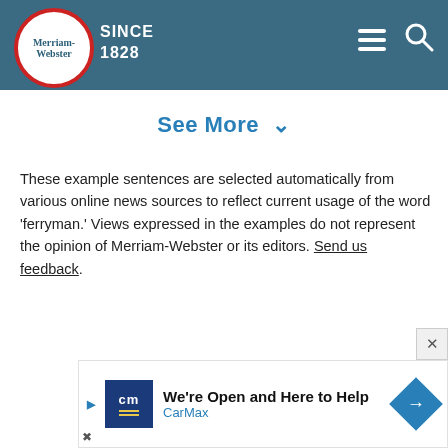Merriam-Webster SINCE 1828
See More ∨
These example sentences are selected automatically from various online news sources to reflect current usage of the word 'ferryman.' Views expressed in the examples do not represent the opinion of Merriam-Webster or its editors. Send us feedback.
[Figure (screenshot): CarMax advertisement banner: 'We're Open and Here to Help' with CarMax logo and directional sign icon]